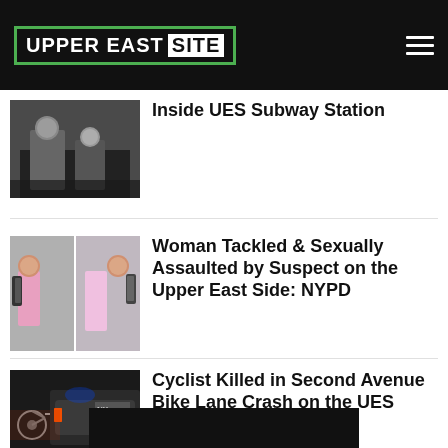UPPER EAST SITE
[Figure (photo): Security camera image of suspect inside UES subway station]
Inside UES Subway Station
[Figure (photo): Two security camera images of woman in white top with backpack]
Woman Tackled & Sexually Assaulted by Suspect on the Upper East Side: NYPD
[Figure (photo): Night scene with bicycle and NYPD vehicle on Second Avenue]
Cyclist Killed in Second Avenue Bike Lane Crash on the UES